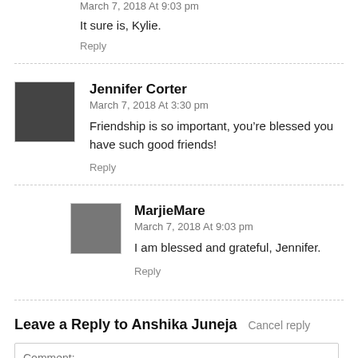March 7, 2018 At 9:03 pm
It sure is, Kylie.
Reply
Jennifer Corter
March 7, 2018 At 3:30 pm
Friendship is so important, you’re blessed you have such good friends!
Reply
MarjieMare
March 7, 2018 At 9:03 pm
I am blessed and grateful, Jennifer.
Reply
Leave a Reply to Anshika Juneja Cancel reply
Comment: